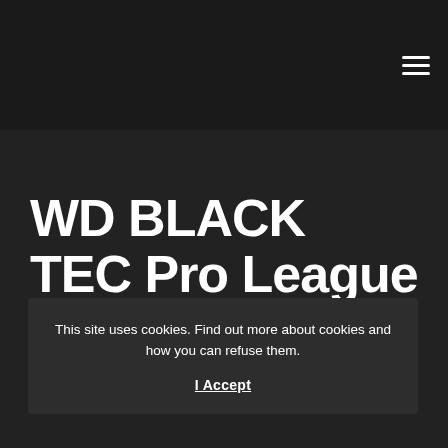☰ (hamburger menu icon)
WD BLACK TEC Pro League R6 Season 1
This site uses cookies. Find out more about cookies and how you can refuse them.
I Accept